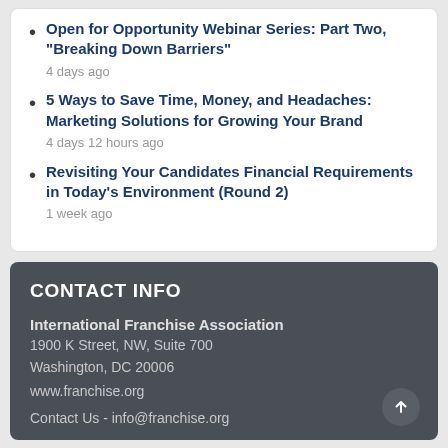Open for Opportunity Webinar Series: Part Two, "Breaking Down Barriers"
4 days ago
5 Ways to Save Time, Money, and Headaches: Marketing Solutions for Growing Your Brand
4 days 12 hours ago
Revisiting Your Candidates Financial Requirements in Today's Environment (Round 2)
1 week ago
CONTACT INFO
International Franchise Association
1900 K Street, NW, Suite 700
Washington, DC 20006
www.franchise.org
Contact Us - info@franchise.org